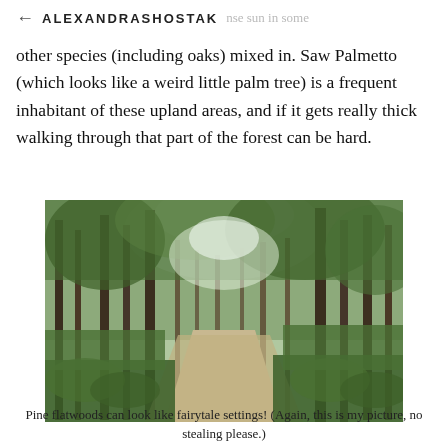← ALEXANDRASHOSTAK
spots. While pines are dominant, you'll see plenty of other species (including oaks) mixed in. Saw Palmetto (which looks like a weird little palm tree) is a frequent inhabitant of these upland areas, and if it gets really thick walking through that part of the forest can be hard.
[Figure (photo): A forest path through pine flatwoods, with tall thin trees, lush green undergrowth, ferns, and bright sky visible through the canopy. A dirt trail leads into the middle of the image.]
Pine flatwoods can look like fairytale settings! (Again, this is my picture, no stealing please.)